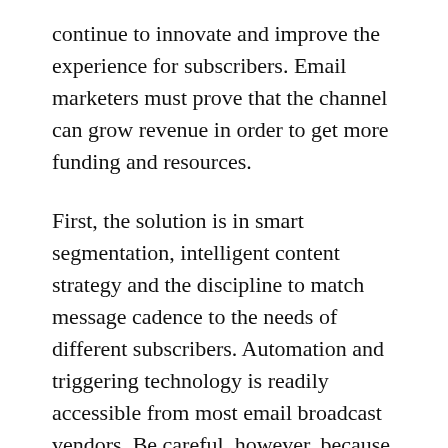continue to innovate and improve the experience for subscribers. Email marketers must prove that the channel can grow revenue in order to get more funding and resources.
First, the solution is in smart segmentation, intelligent content strategy and the discipline to match message cadence to the needs of different subscribers. Automation and triggering technology is readily accessible from most email broadcast vendors. Be careful, however, because just sending more and more messages won't build long-term revenue opportunities. (It might generate revenue in the short term, which is why too many marketers fall into that trap.)